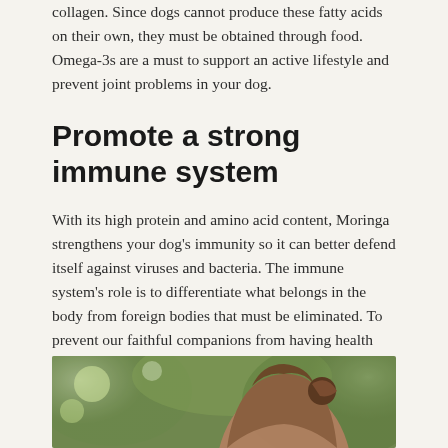collagen. Since dogs cannot produce these fatty acids on their own, they must be obtained through food. Omega-3s are a must to support an active lifestyle and prevent joint problems in your dog.
Promote a strong immune system
With its high protein and amino acid content, Moringa strengthens your dog's immunity so it can better defend itself against viruses and bacteria. The immune system's role is to differentiate what belongs in the body from foreign bodies that must be eliminated. To prevent our faithful companions from having health problems, it is essential to strengthen its protective shield.
[Figure (photo): A photograph showing a person with long hair from behind, with a blurred green outdoor background.]